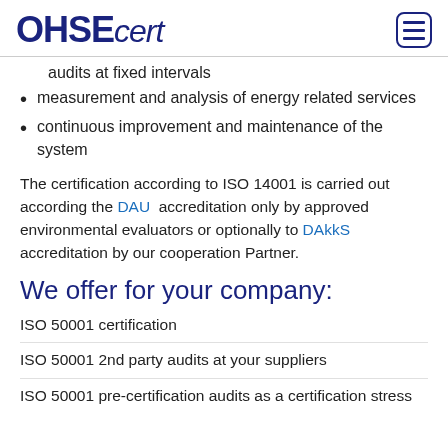OHSEcert
audits at fixed intervals
measurement and analysis of energy related services
continuous improvement and maintenance of the system
The certification according to ISO 14001 is carried out according the DAU accreditation only by approved environmental evaluators or optionally to DAkkS accreditation by our cooperation Partner.
We offer for your company:
ISO 50001 certification
ISO 50001 2nd party audits at your suppliers
ISO 50001 pre-certification audits as a certification stress